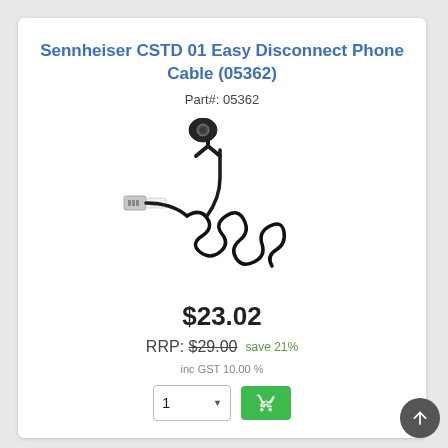Sennheiser CSTD 01 Easy Disconnect Phone Cable (05362)
Part#: 05362
[Figure (photo): Product photo of Sennheiser CSTD 01 Easy Disconnect Phone Cable — a coiled black cable with an RJ connector on one end and an Easy Disconnect connector on the other]
$23.02
RRP: $29.00  save 21%
inc GST 10.00 %